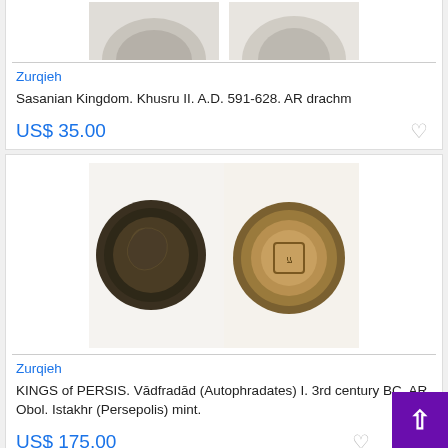[Figure (photo): Two ancient coins shown side by side (obverse and reverse) — partially visible at top of page, Sasanian Kingdom coin listing]
Zurqieh
Sasanian Kingdom. Khusru II. A.D. 591-628. AR drachm
US$ 35.00
[Figure (photo): Two ancient coins shown side by side — obverse showing a bearded portrait, reverse showing a symbol — Kings of Persis listing]
Zurqieh
KINGS of PERSIS. Vādfradād (Autophradates) I. 3rd century BC. AR Obol. Istakhr (Persepolis) mint.
US$ 175.00